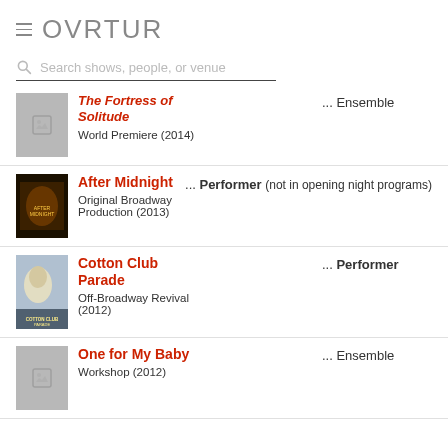OVRTUR
Search shows, people, or venue
The Fortress of Solitude — World Premiere (2014) — ... Ensemble
After Midnight — Original Broadway Production (2013) — ... Performer (not in opening night programs)
Cotton Club Parade — Off-Broadway Revival (2012) — ... Performer
One for My Baby — Workshop (2012) — ... Ensemble